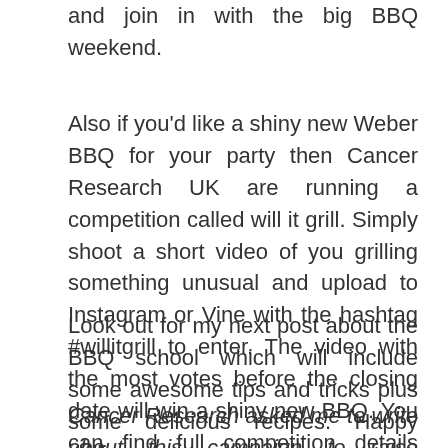…What are you waiting for? Get planning your party, and join in with the big BBQ weekend.
Also if you'd like a shiny new Weber BBQ for your party then Cancer Research UK are running a competition called will it grill. Simply shoot a short video of you grilling something unusual and upload to Instagram or Vine with the hashtag #willitgrill to enter. The video with the most votes before the closing date will win a shiny new BBQ. You can find full competition details here.
Look out for my next post about the BBQ school which will include some awesome tips and tricks plus some delicious recipes. Happy grilling.
Cancer Research asked me to write about this campaign to raise awareness and they invited me along to the Weber